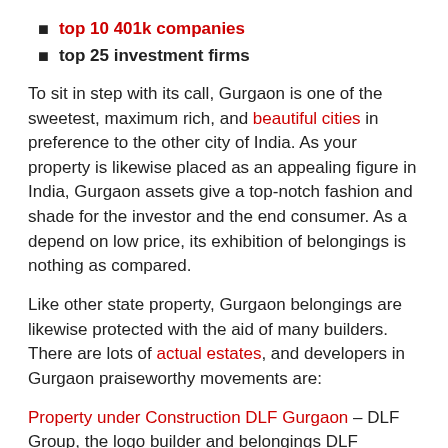top 10 401k companies
top 25 investment firms
To sit in step with its call, Gurgaon is one of the sweetest, maximum rich, and beautiful cities in preference to the other city of India. As your property is likewise placed as an appealing figure in India, Gurgaon assets give a top-notch fashion and shade for the investor and the end consumer. As a depend on low price, its exhibition of belongings is nothing as compared.
Like other state property, Gurgaon belongings are likewise protected with the aid of many builders. There are lots of actual estates, and developers in Gurgaon praiseworthy movements are:
Property under Construction DLF Gurgaon – DLF Group, the logo builder and belongings DLF Gurgaon this is